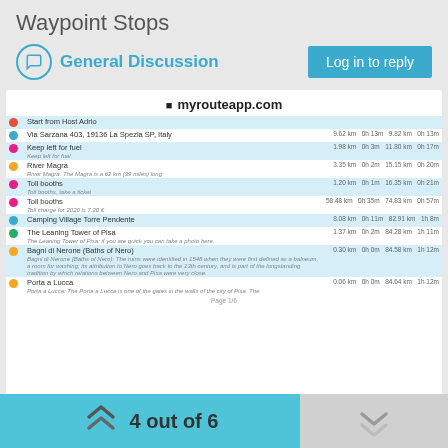Waypoint Stops
General Discussion
[Figure (screenshot): Screenshot of myrouteapp.com showing a route with waypoint stops including Via Sarzana, Keep left for fuel, River Magra, Toll booths, Camping Village Torre Pendente, The Leaning Tower of Pisa, Bagni di Nerone, and Porta a Lucca]
...walls are the oldest example in Italy and almost completely preserved.
4 out of 6